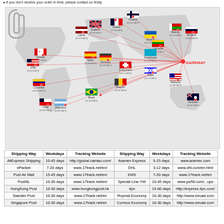If you don't receive your order in time, please contact us firstly.
[Figure (map): World shipping map showing GAREMAY as origin with lines to destination countries including Canada, USA, Colombia, Chile, Latvia, England, Spain, Germany, Argentina, Brazil, France, Finland, Switzerland, Belgium, Ukraine, Lithuania, Israel, Kazakhstan, Belarus, Russia, Malaysia, Australia. Each country shown with flag and delivery days.]
| Shipping Way | Weekdays | Tracking Website | Shipping Way | Weekdays | Tracking Website |
| --- | --- | --- | --- | --- | --- |
| AliExpress Shipping | 10-45 days | http://global.cainiao.com/ | Aramex Express | 5-15 days | www.aramex.com |
| ePacket | 7-20 days | www.17track.net/en/ | DHL | 3-12 days | www.dhl.com/en.html |
| Post Air Mail | 15-45 days | www.17track.net/en/ | EMS | 7-20 days | www.17track.net/en |
| PostNL | 10-30 days | www.17track.net/en/ | Special Line-YW | 10-45 days | www.yw56.com/...ups |
| HongKong Post | 10-30 days | www.hongkongpost.hk | 4px | 15-60 days | http://express.4px.com/ |
| Sweden Post | 10-30 days | www.17track.net/en | Roymal Economy | 10-30 days | http://www.sinoair.com |
| Singapore Post | 10-30 days | www.17track.net/en | Correos Economy | 10-30 days | http://www.sinoair.com |